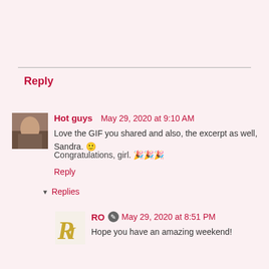Reply
Hot guys  May 29, 2020 at 9:10 AM
Love the GIF you shared and also, the excerpt as well, Sandra. 🙂
Congratulations, girl. 🎉🎉🎉
Reply
▾  Replies
RO  May 29, 2020 at 8:51 PM
Hope you have an amazing weekend!